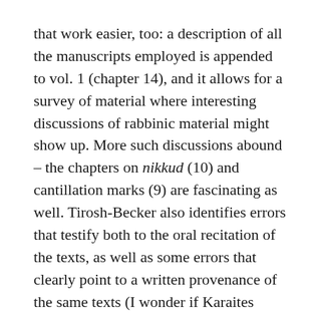that work easier, too: a description of all the manuscripts employed is appended to vol. 1 (chapter 14), and it allows for a survey of material where interesting discussions of rabbinic material might show up. More such discussions abound – the chapters on nikkud (10) and cantillation marks (9) are fascinating as well. Tirosh-Becker also identifies errors that testify both to the oral recitation of the texts, as well as some errors that clearly point to a written provenance of the same texts (I wonder if Karaites stopped copying from the rabbinic texts themselves at some point and started copying